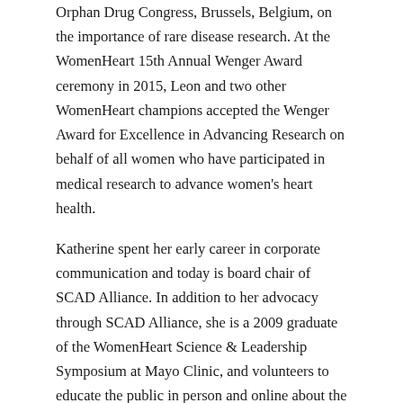Orphan Drug Congress, Brussels, Belgium, on the importance of rare disease research. At the WomenHeart 15th Annual Wenger Award ceremony in 2015, Leon and two other WomenHeart champions accepted the Wenger Award for Excellence in Advancing Research on behalf of all women who have participated in medical research to advance women's heart health.
Katherine spent her early career in corporate communication and today is board chair of SCAD Alliance. In addition to her advocacy through SCAD Alliance, she is a 2009 graduate of the WomenHeart Science & Leadership Symposium at Mayo Clinic, and volunteers to educate the public in person and online about the number one killer of Americans: heart disease. When she is not on a bleacher watching little league baseball, she enjoys playing golf with her two sons and husband.